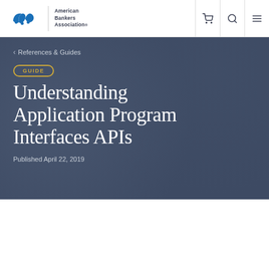American Bankers Association — Navigation bar with cart, search, and menu icons
< References & Guides
GUIDE
Understanding Application Program Interfaces APIs
Published April 22, 2019